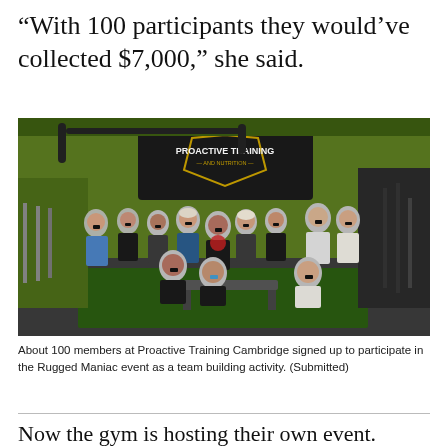“With 100 participants they would’ve collected $7,000,” she said.
[Figure (photo): Group photo of about 100 gym members wearing black face masks inside Proactive Training and Nutrition gym with bright green walls and a banner sign, posing in exercise gear.]
About 100 members at Proactive Training Cambridge signed up to participate in the Rugged Maniac event as a team building activity. (Submitted)
Now the gym is hosting their own event.
“We purely feel conned that we purchased